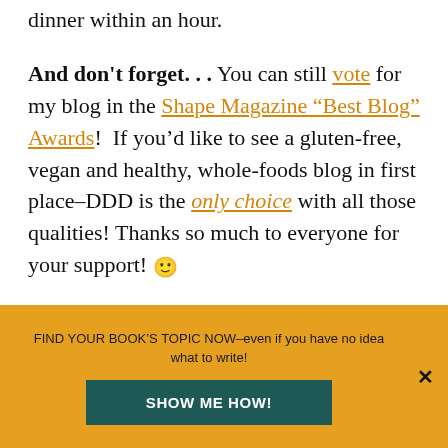dinner within an hour.

And don't forget. . . You can still vote for my blog in the Shape Magazine "Best Blog" Awards!  If you'd like to see a gluten-free, vegan and healthy, whole-foods blog in first place–DDD is the only choice with all those qualities! Thanks so much to everyone for your support! 🙂
[Figure (photo): Photo of a bowl of food, likely a creamy soup or hummus dish served in a white bowl, with blurred background]
FIND YOUR BOOK'S TOPIC NOW–even if you have no idea what to write!
SHOW ME HOW!